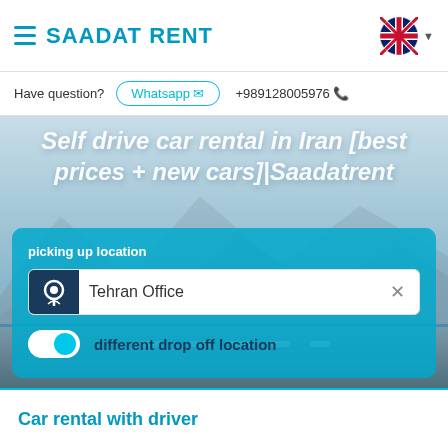SAADAT RENT
Have question?  Whatsapp  +989128005976
Self drive car rental in Iran [best prices + new cars]|Saadatrent
picking up location
Tehran Office
different drop off location
Car rental with driver